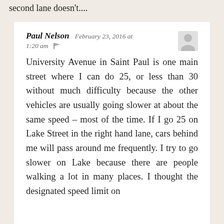second lane doesn't....
Paul Nelson  February 23, 2016 at 1:20 am
University Avenue in Saint Paul is one main street where I can do 25, or less than 30 without much difficulty because the other vehicles are usually going slower at about the same speed – most of the time. If I go 25 on Lake Street in the right hand lane, cars behind me will pass around me frequently. I try to go slower on Lake because there are people walking a lot in many places. I thought the designated speed limit on